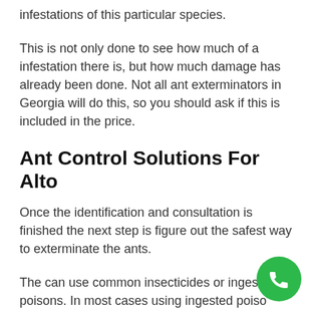infestations of this particular species.
This is not only done to see how much of a infestation there is, but how much damage has already been done. Not all ant exterminators in Georgia will do this, so you should ask if this is included in the price.
Ant Control Solutions For Alto
Once the identification and consultation is finished the next step is figure out the safest way to exterminate the ants.
The can use common insecticides or ingested poisons. In most cases using ingested poisons are the option that is preferred because this method does not kill other insects. If the ant